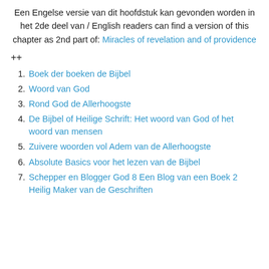Een Engelse versie van dit hoofdstuk kan gevonden worden in het 2de deel van / English readers can find a version of this chapter as 2nd part of: Miracles of revelation and of providence
++
Boek der boeken de Bijbel
Woord van God
Rond God de Allerhoogste
De Bijbel of Heilige Schrift: Het woord van God of het woord van mensen
Zuivere woorden vol Adem van de Allerhoogste
Absolute Basics voor het lezen van de Bijbel
Schepper en Blogger God 8 Een Blog van een Boek 2 Heilig Maker van de Geschriften